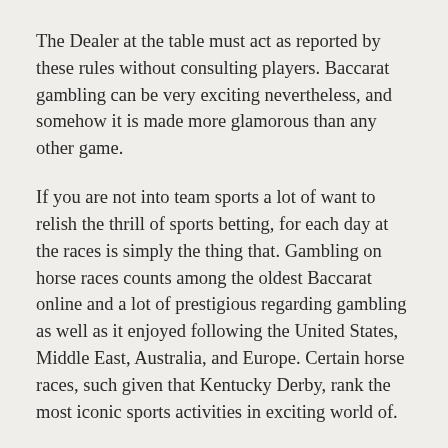The Dealer at the table must act as reported by these rules without consulting players. Baccarat gambling can be very exciting nevertheless, and somehow it is made more glamorous than any other game.
If you are not into team sports a lot of want to relish the thrill of sports betting, for each day at the races is simply the thing that. Gambling on horse races counts among the oldest Baccarat online and a lot of prestigious regarding gambling as well as it enjoyed following the United States, Middle East, Australia, and Europe. Certain horse races, such given that Kentucky Derby, rank the most iconic sports activities in exciting world of.
The first one is Casino Texas holdem poker. Poker is a game in which skill determines the one who did that. In this game the players compete with one another and the